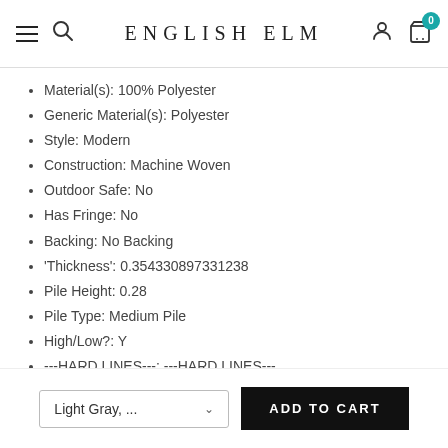ENGLISH ELM
Material(s): 100% Polyester
Generic Material(s): Polyester
Style: Modern
Construction: Machine Woven
Outdoor Safe: No
Has Fringe: No
Backing: No Backing
'Thickness': 0.354330897331238
Pile Height: 0.28
Pile Type: Medium Pile
High/Low?: Y
---HARD LINES---: ---HARD LINES---
Light Gray, ...   ADD TO CART